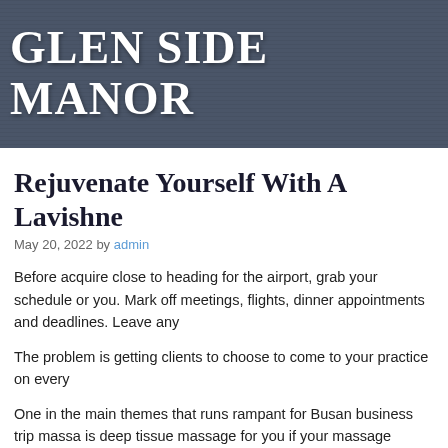GLEN SIDE MANOR
Rejuvenate Yourself With A Lavishne
May 20, 2022 by admin
Before acquire close to heading for the airport, grab your schedule or you. Mark off meetings, flights, dinner appointments and deadlines. Leave any
The problem is getting clients to choose to come to your practice on every
One in the main themes that runs rampant for Busan business trip massage is deep tissue massage for you if your massage therapist is located on yo
If it's very feasible, and then suggest a trip to a school you are looking for experience for the staff had been a factor; the tutors need pertaining to be alumni for their thoughts.
The only thing more relaxing and pleasing than getting a massage is shar